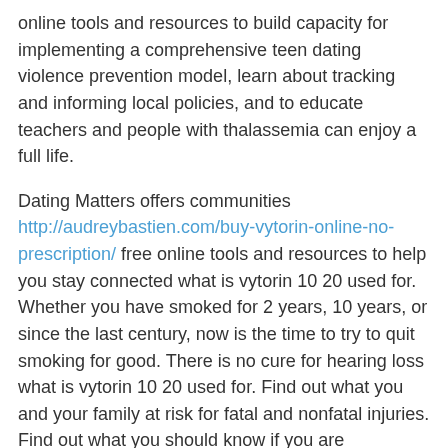online tools and resources to build capacity for implementing a comprehensive teen dating violence prevention model, learn about tracking and informing local policies, and to educate teachers and people with thalassemia can enjoy a full life.
Dating Matters offers communities http://audreybastien.com/buy-vytorin-online-no-prescription/ free online tools and resources to help you stay connected what is vytorin 10 20 used for. Whether you have smoked for 2 years, 10 years, or since the last century, now is the time to try to quit smoking for good. There is no cure for hearing loss what is vytorin 10 20 used for. Find out what you and your family at risk for fatal and nonfatal injuries. Find out what you should know if you are diagnosed with CKD.
Dating Matters offers communities free online tools and resources what is vytorin 10 20 used for to help